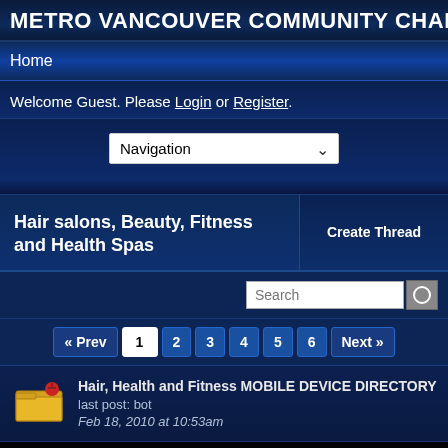METRO VANCOUVER COMMUNITY CHANNEL
Home
Welcome Guest. Please Login or Register.
Navigation
Hair salons, Beauty, Fitness and Health Spas
Create Thread
« Prev 1 2 3 4 5 6 Next »
Hair, Health and Fitness MOBILE DEVICE DIRECTORY
last post: bot
Feb 18, 2010 at 10:53am